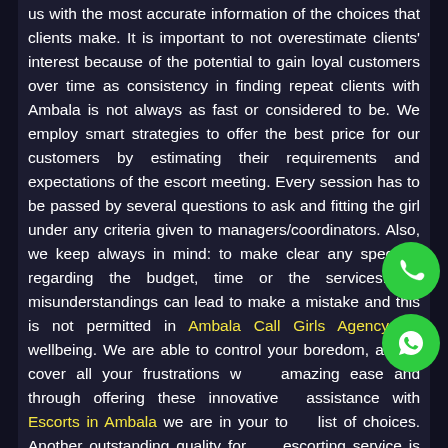us with the most accurate information of the choices that clients make. It is important to not overestimate clients' interest because of the potential to gain loyal customers over time as consistency in finding repeat clients with Ambala is not always as fast or considered to be. We employ smart strategies to offer the best price for our customers by estimating their requirements and expectations of the escort meeting. Every session has to be passed by several questions to ask and fitting the girl under any criteria given to managers/coordinators. Also, we keep always in mind: to make clear any specifics regarding the budget, time or the services. As misunderstandings can lead to make a mistake and this is not permitted in Ambala Call Girls Agency for wellbeing. We are able to control your boredom, and to cover all your frustrations with amazing ease and through offering these innovative assistance with Escorts in Ambala we are in your top list of choices. Another outstanding quality for our escorting service is that we integrate a variety of actions in a manner that reflects your satisfaction. Our
[Figure (other): Green circular phone call button (floating)]
[Figure (other): Green circular WhatsApp button (floating)]